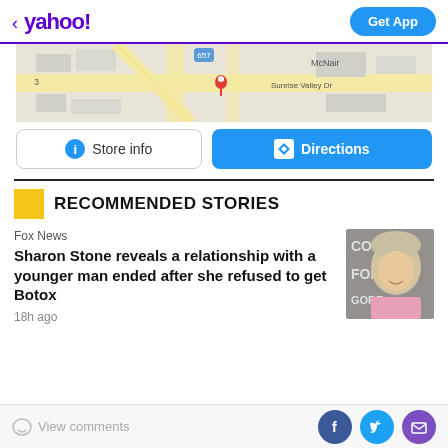< yahoo! | Get App
[Figure (map): Google Maps view showing McNair area with Sunrise Valley Dr, route 657, and a red location pin marker]
Store info | Directions
RECOMMENDED STORIES
Fox News
Sharon Stone reveals a relationship with a younger man ended after she refused to get Botox
18h ago
View comments | (Facebook, Twitter, Mail icons)